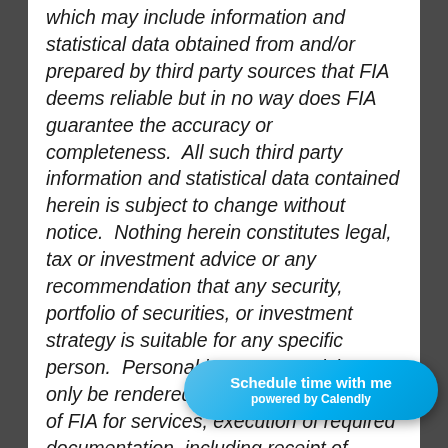which may include information and statistical data obtained from and/or prepared by third party sources that FIA deems reliable but in no way does FIA guarantee the accuracy or completeness.  All such third party information and statistical data contained herein is subject to change without notice.  Nothing herein constitutes legal, tax or investment advice or any recommendation that any security, portfolio of securities, or investment strategy is suitable for any specific person.  Personal investment advice can only be rendered after the engagement of FIA for services, execution of required documentation, including receipt of required disclosures.  All investi... and past performance is no guarantee of